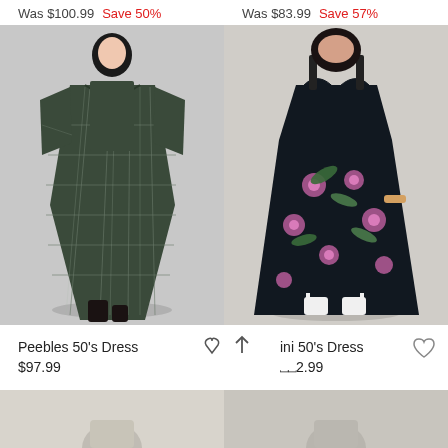Was $100.99  Save 50%
Was $83.99  Save 57%
[Figure (photo): Woman wearing a dark plaid 50s style dress with 3/4 sleeves and flared skirt, black boots]
[Figure (photo): Plus-size woman wearing a black floral tropical 50s style dress with spaghetti straps]
Peebles 50's Dress
ini 50's Dress
$97.99
$92.99
[Figure (photo): Partial view of another dress product at bottom left]
[Figure (photo): Partial view of another dress product at bottom right]